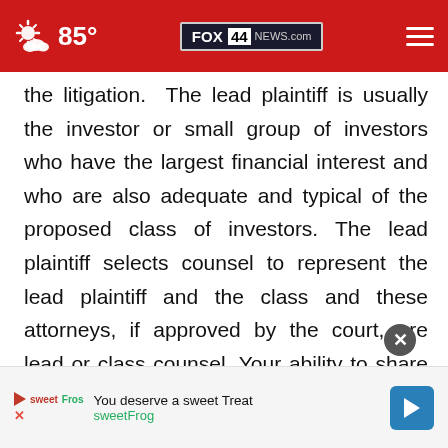FOX 44 NEWS.com — 85°
the litigation. The lead plaintiff is usually the investor or small group of investors who have the largest financial interest and who are also adequate and typical of the proposed class of investors. The lead plaintiff selects counsel to represent the lead plaintiff and the class and these attorneys, if approved by the court, are lead or class counsel. Your ability to share in any recovery is not affected by the decision of whet
[Figure (screenshot): Advertisement banner for sweetFrog: 'You deserve a sweet Treat sweetFrog' with brand logo and navigation arrow button]